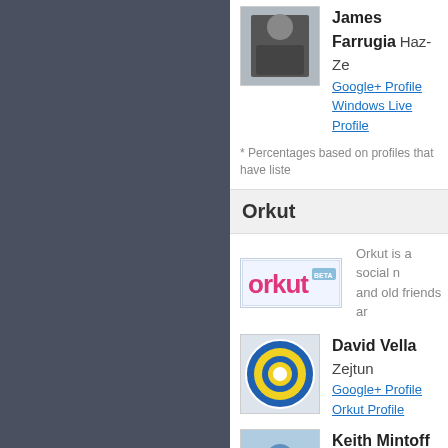[Figure (photo): Dark gray sidebar panel on the left side of the page]
[Figure (photo): James Farrugia profile photo - man in dark jacket]
James Farrugia Haz-Ze
Google+ Profile
Windows Live Profile
* Percentages based on profiles that have liste
Orkut
[Figure (logo): Orkut logo - pink/magenta text with BETA badge]
Orkut is a social n and old friends ar
[Figure (photo): David Vella profile picture - circular emblem/badge]
David Vella Zejtun
Google+ Profile
Orkut Profile
[Figure (photo): Keith Mintoff default avatar - blue silhouette on light blue background]
Keith Mintoff Malta
Google+ Profile
Orkut Profile
* Percentages based on profiles that have liste